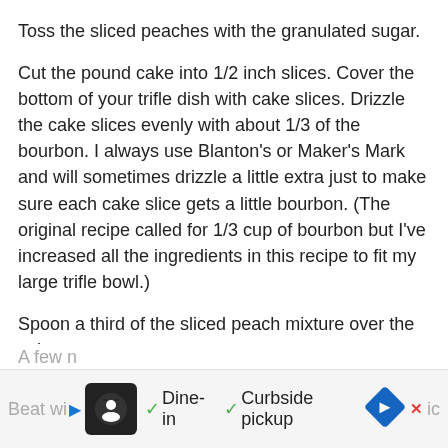Toss the sliced peaches with the granulated sugar.
Cut the pound cake into 1/2 inch slices. Cover the bottom of your trifle dish with cake slices. Drizzle the cake slices evenly with about 1/3 of the bourbon. I always use Blanton’s or Maker’s Mark and will sometimes drizzle a little extra just to make sure each cake slice gets a little bourbon. (The original recipe called for 1/3 cup of bourbon but I’ve increased all the ingredients in this recipe to fit my large trifle bowl.)
Spoon a third of the sliced peach mixture over the cake.
Spread a third of the pudding over the peaches.
Repeat twice more with the remaining cake slices, bourbon, peach mixture and pudding.
Cover and chill at least two hours.
A few n...
Beat wi...ic